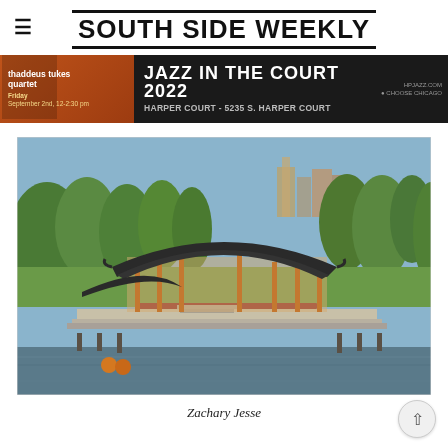SOUTH SIDE WEEKLY
[Figure (infographic): Advertisement banner for Jazz in the Court 2022 featuring Thaddeus Tukes Quartet at Harper Court, 5235 S. Harper Court, Friday September 2nd 12–2:30 pm]
[Figure (photo): Aerial photograph of a traditional East Asian-style pavilion structure with dark curved roofs, wooden orange columns, situated on a waterfront pier surrounded by green trees, with city skyline in background]
Zachary Jesse